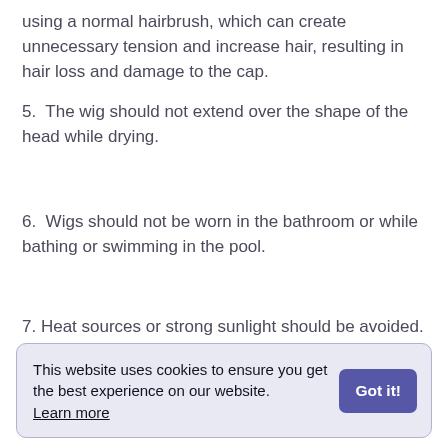using a normal hairbrush, which can create unnecessary tension and increase hair, resulting in hair loss and damage to the cap.
5.  The wig should not extend over the shape of the head while drying.
6.  Wigs should not be worn in the bathroom or while bathing or swimming in the pool.
7. Heat sources or strong sunlight should be avoided.
8.  Expose it to no sources of heat (i.e.
This website uses cookies to ensure you get the best experience on our website. Learn more